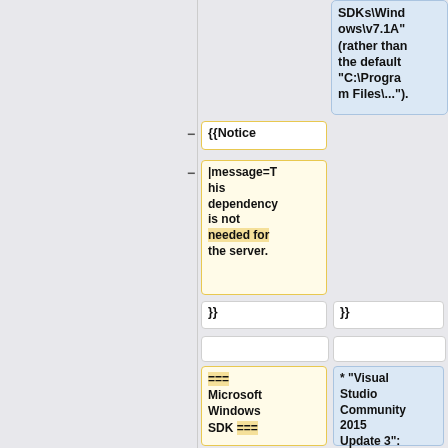[Figure (screenshot): Wiki diff/comparison view showing code boxes. Top right blue box: SDKs\Windows\v7.1A" (rather than the default "C:\Program Files\..."). Left column: {{Notice box, |message=This dependency is not needed for the server. box, }} box, empty box, === Microsoft Windows SDK === box. Right column: }} box, empty box, * "Visual Studio Community 2015 Update 3": box.]